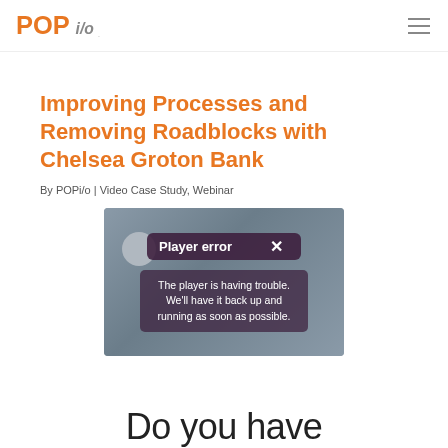POPi/o
Improving Processes and Removing Roadblocks with Chelsea Groton Bank
By POPi/o | Video Case Study, Webinar
[Figure (screenshot): Video player showing a 'Player error' overlay with the message: 'The player is having trouble. We’ll have it back up and running as soon as possible.']
Do you have